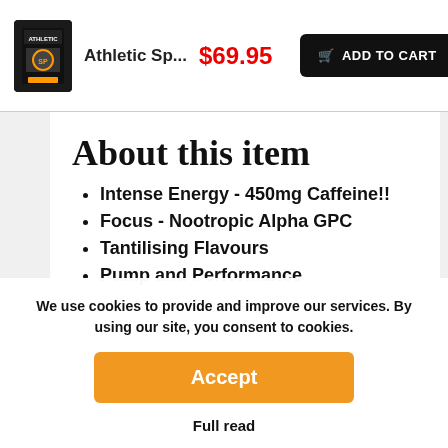[Figure (photo): Product image: dark container/can of Athletic Sp... supplement]
Athletic Sp...
$69.95
ADD TO CART
About this item
Intense Energy - 450mg Caffeine!!
Focus - Nootropic Alpha GPC
Tantilising Flavours
Pump and Performance
We use cookies to provide and improve our services. By using our site, you consent to cookies.
Accept
Full read